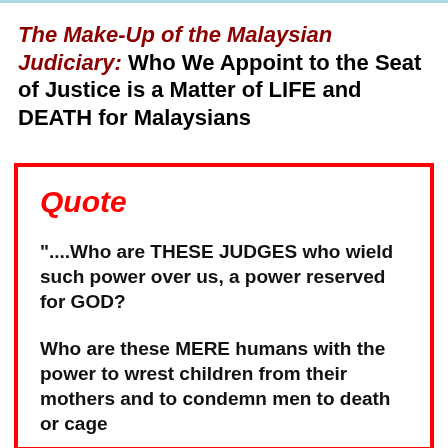The Make-Up of the Malaysian Judiciary: Who We Appoint to the Seat of Justice is a Matter of LIFE and DEATH for Malaysians
Quote

"....Who are THESE JUDGES who wield such power over us, a power reserved for GOD?

Who are these MERE humans with the power to wrest children from their mothers and to condemn men to death or cage